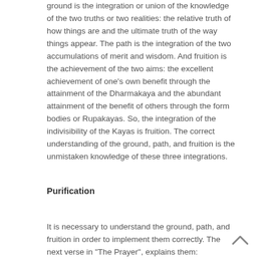ground is the integration or union of the knowledge of the two truths or two realities: the relative truth of how things are and the ultimate truth of the way things appear. The path is the integration of the two accumulations of merit and wisdom. And fruition is the achievement of the two aims: the excellent achievement of one's own benefit through the attainment of the Dharmakaya and the abundant attainment of the benefit of others through the form bodies or Rupakayas. So, the integration of the indivisibility of the Kayas is fruition. The correct understanding of the ground, path, and fruition is the unmistaken knowledge of these three integrations.
Purification
It is necessary to understand the ground, path, and fruition in order to implement them correctly. The next verse in "The Prayer", explains them: